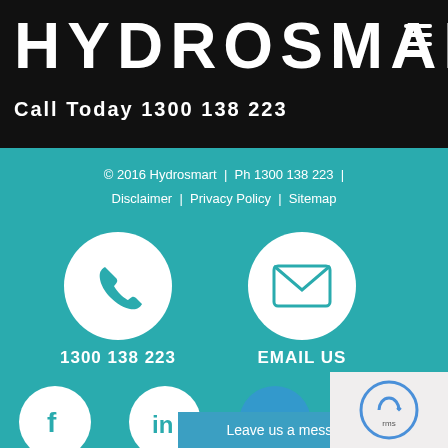HYDROSMART
Call Today 1300 138 223
© 2016 Hydrosmart  |  Ph 1300 138 223  |  Disclaimer  |  Privacy Policy  |  Sitemap
[Figure (infographic): Phone icon in white circle on teal background with label 1300 138 223]
[Figure (infographic): Email/envelope icon in white circle on teal background with label EMAIL US]
[Figure (infographic): Social media icons row: Facebook, LinkedIn, and other social icons in white circles on teal background]
Leave us a message